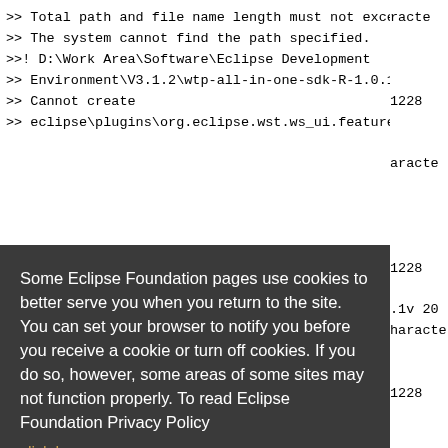>> Total path and file name length must not exceed 260 characters
>> The system cannot find the path specified.
>>! D:\Work Area\Software\Eclipse Development
>> Environment\V3.1.2\wtp-all-in-one-sdk-R-1.0.1-200602171228
>> Cannot create
>> eclipse\plugins\org.eclipse.wst.ws_ui.feature.source_1.0.1v 20
[Figure (screenshot): Cookie consent dialog overlay from Eclipse Foundation website. Dark gray background with white text reading: 'Some Eclipse Foundation pages use cookies to better serve you when you return to the site. You can set your browser to notify you before you receive a cookie or turn off cookies. If you do so, however, some areas of some sites may not function properly. To read Eclipse Foundation Privacy Policy click here.' Two buttons: 'Decline' (white) and 'Allow cookies' (orange).]
>> eclipse\plugins\org.eclipse.wst.ws_ui.feature.source_1.0.1v 20